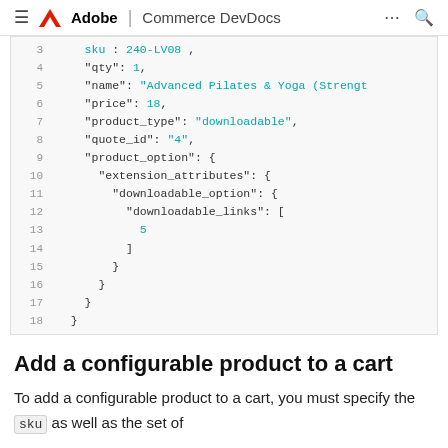≡ Adobe | Commerce DevDocs
[Figure (screenshot): Code block showing JSON with line numbers 3-18, displaying a cart item with sku, qty, name, price, product_type, quote_id, and product_option fields including downloadable_option with downloadable_links array.]
Add a configurable product to a cart
To add a configurable product to a cart, you must specify the sku as well as the set of